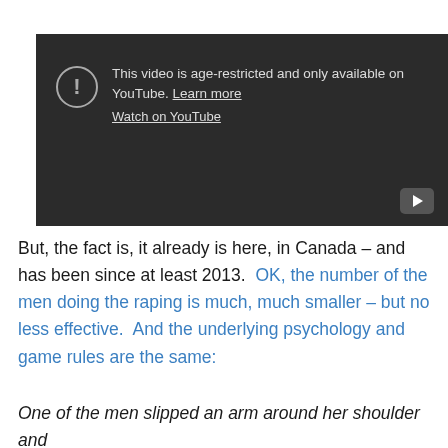[Figure (screenshot): YouTube age-restricted video embed showing warning message: 'This video is age-restricted and only available on YouTube. Learn more' and a 'Watch on YouTube' link, with a play button in the bottom right corner.]
But, the fact is, it already is here, in Canada – and has been since at least 2013.  OK, the number of the men doing the raping is much, much smaller – but no less effective.  And the underlying psychology and game rules are the same:
One of the men slipped an arm around her shoulder and